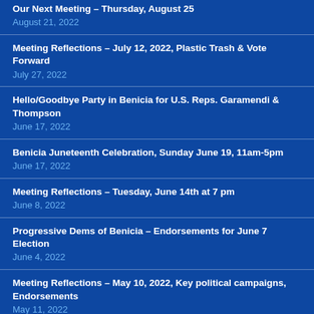Our Next Meeting – Thursday, August 25
August 21, 2022
Meeting Reflections – July 12, 2022, Plastic Trash & Vote Forward
July 27, 2022
Hello/Goodbye Party in Benicia for U.S. Reps. Garamendi & Thompson
June 17, 2022
Benicia Juneteenth Celebration, Sunday June 19, 11am-5pm
June 17, 2022
Meeting Reflections – Tuesday, June 14th at 7 pm
June 8, 2022
Progressive Dems of Benicia – Endorsements for June 7 Election
June 4, 2022
Meeting Reflections – May 10, 2022, Key political campaigns, Endorsements
May 11, 2022
Meeting Reflections – April 12, 2022, Climate Change and D.A. candidate Sharon Henry